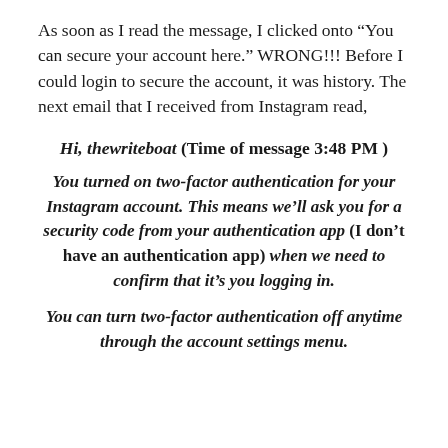As soon as I read the message, I clicked onto “You can secure your account here.” WRONG!!! Before I could login to secure the account, it was history. The next email that I received from Instagram read,
Hi, thewriteboat (Time of message 3:48 PM )
You turned on two-factor authentication for your Instagram account. This means we’ll ask you for a security code from your authentication app (I don’t have an authentication app) when we need to confirm that it’s you logging in.
You can turn two-factor authentication off anytime through the account settings menu.